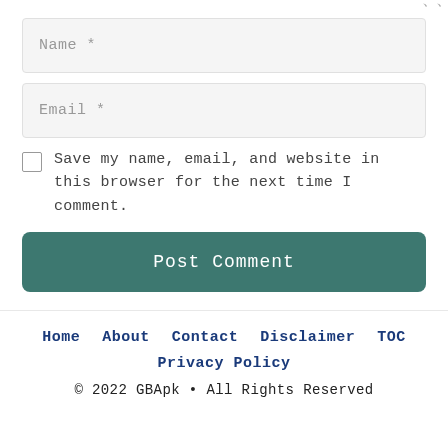Name *
Email *
Save my name, email, and website in this browser for the next time I comment.
Post Comment
Home   About   Contact   Disclaimer   TOC
Privacy Policy
© 2022 GBApk • All Rights Reserved